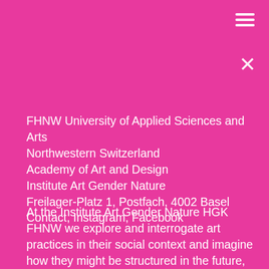[Figure (other): Hamburger menu icon (three white horizontal lines) in top-right corner]
[Figure (other): Close button X icon in upper-right area]
FHNW University of Applied Sciences and Arts Northwestern Switzerland
Academy of Art and Design
Institute Art Gender Nature
Freilager-Platz 1, Postfach, 4002 Basel
Contact, Instagram, Facebook
At the Institute Art Gender Nature HGK FHNW we explore and interrogate art practices in their social context and imagine how they might be structured in the future, thus finding and developing new methods. The Institute Art Gender Nature is a place where practice